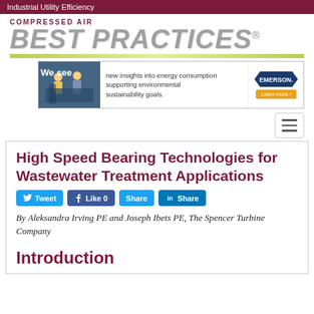Industrial Utility Efficiency
[Figure (logo): Compressed Air Best Practices magazine logo with grey metallic lettering]
[Figure (screenshot): Emerson advertisement banner: 'We see new insights into energy consumption supporting environmental sustainability goals.' with Learn more button]
High Speed Bearing Technologies for Wastewater Treatment Applications
[Figure (infographic): Social sharing buttons: Tweet, Like 0, Share, LinkedIn Share]
By Aleksandra Irving PE and Joseph Ibets PE, The Spencer Turbine Company
Introduction